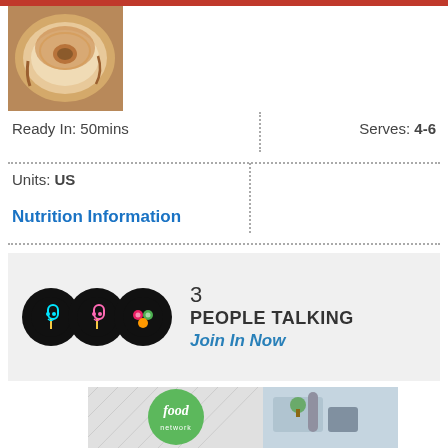[Figure (photo): Photo of a flan or caramel custard dessert viewed from above, showing caramel topping and sides]
Ready In: 50mins
Serves: 4-6
Units: US
Nutrition Information
3
PEOPLE TALKING
Join In Now
[Figure (logo): Food Network logo - green circle with 'food network' text in white]